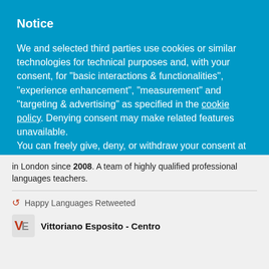Notice
We and selected third parties use cookies or similar technologies for technical purposes and, with your consent, for “basic interactions & functionalities”, “experience enhancement”, “measurement” and “targeting & advertising” as specified in the cookie policy. Denying consent may make related features unavailable.
You can freely give, deny, or withdraw your consent at any time.
Reject
Accept
Learn more and customize
in London since 2008. A team of highly qualified professional languages teachers.
Happy Languages Retweeted
Vittoriano Esposito - Centro